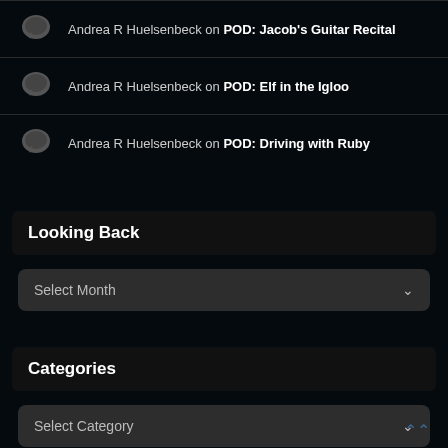Andrea R Huelsenbeck on POD: Jacob's Guitar Recital
Andrea R Huelsenbeck on POD: Elf in the Igloo
Andrea R Huelsenbeck on POD: Driving with Ruby
Looking Back
Select Month
Categories
Select Category